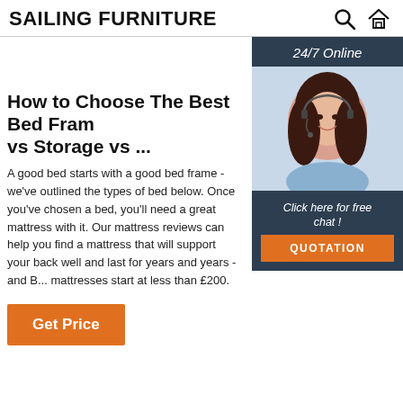SAILING FURNITURE
[Figure (illustration): Customer service representative woman with headset, with '24/7 Online' banner, 'Click here for free chat!' text, and orange QUOTATION button on dark navy sidebar]
How to Choose The Best Bed Fram vs Storage vs ...
A good bed starts with a good bed frame - we've outlined the types of bed below. Once you've chosen a bed, you'll need a great mattress with it. Our mattress reviews can help you find a mattress that will support your back well and last for years and years - and B... mattresses start at less than £200.
Get Price